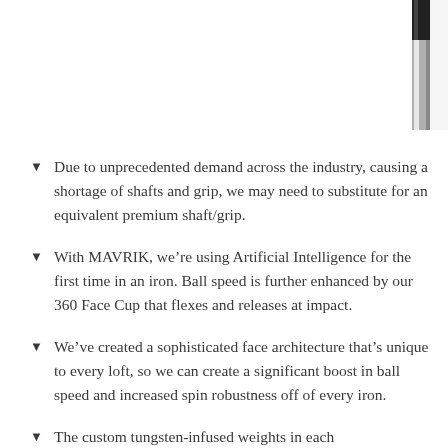[Figure (photo): Partial view of a golf club shaft and grip in black and chrome, cropped at top-right corner of page.]
Due to unprecedented demand across the industry, causing a shortage of shafts and grip, we may need to substitute for an equivalent premium shaft/grip.
With MAVRIK, we’re using Artificial Intelligence for the first time in an iron. Ball speed is further enhanced by our 360 Face Cup that flexes and releases at impact.
We’ve created a sophisticated face architecture that’s unique to every loft, so we can create a significant boost in ball speed and increased spin robustness off of every iron.
The custom tungsten-infused weights in each…